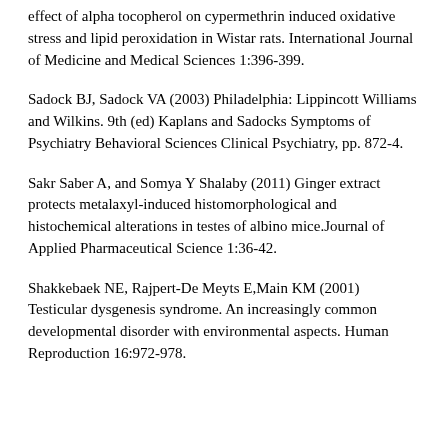effect of alpha tocopherol on cypermethrin induced oxidative stress and lipid peroxidation in Wistar rats. International Journal of Medicine and Medical Sciences 1:396-399.
Sadock BJ, Sadock VA (2003) Philadelphia: Lippincott Williams and Wilkins. 9th (ed) Kaplans and Sadocks Symptoms of Psychiatry Behavioral Sciences Clinical Psychiatry, pp. 872-4.
Sakr Saber A, and Somya Y Shalaby (2011) Ginger extract protects metalaxyl-induced histomorphological and histochemical alterations in testes of albino mice.Journal of Applied Pharmaceutical Science 1:36-42.
Shakkebaek NE, Rajpert-De Meyts E,Main KM (2001) Testicular dysgenesis syndrome. An increasingly common developmental disorder with environmental aspects. Human Reproduction 16:972-978.